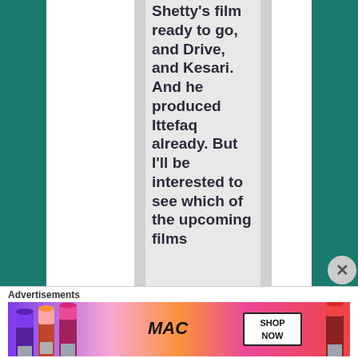Shetty's film ready to go, and Drive, and Kesari. And he produced Ittefaq already. But I'll be interested to see which of the upcoming films
Advertisements
[Figure (photo): MAC cosmetics advertisement banner showing lipsticks in purple, peach, pink colors with MAC logo and SHOP NOW button]